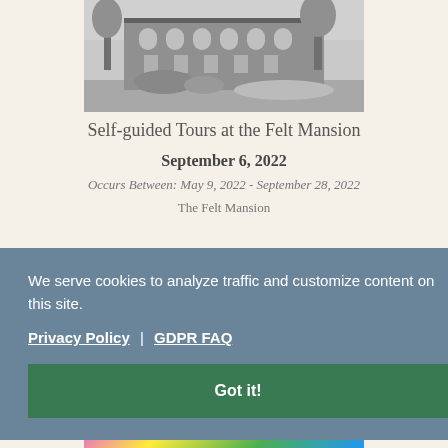[Figure (photo): Black and white photograph of the Felt Mansion exterior, showing a large brick building with arched windows, trees, and landscaped grounds with flower beds.]
Self-guided Tours at the Felt Mansion
September 6, 2022
Occurs Between: May 9, 2022 - September 28, 2022
The Felt Mansion
We serve cookies to analyze traffic and customize content on this site.
Privacy Policy | GDPR FAQ
Got it!
[Figure (photo): Colorful image at the bottom showing partial text/letters in yellow and other bright colors on a multicolored background.]